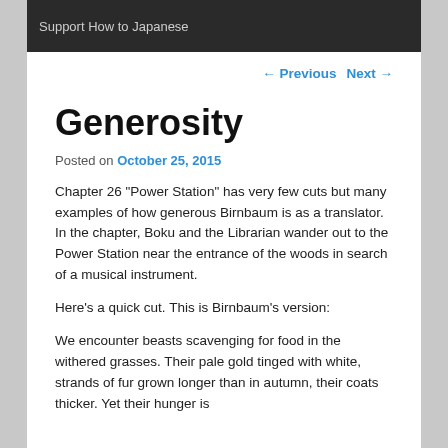Support How to Japanese
← Previous   Next →
Generosity
Posted on October 25, 2015
Chapter 26 “Power Station” has very few cuts but many examples of how generous Birnbaum is as a translator. In the chapter, Boku and the Librarian wander out to the Power Station near the entrance of the woods in search of a musical instrument.
Here’s a quick cut. This is Birnbaum’s version:
We encounter beasts scavenging for food in the withered grasses. Their pale gold tinged with white, strands of fur grown longer than in autumn, their coats thicker. Yet their hunger is